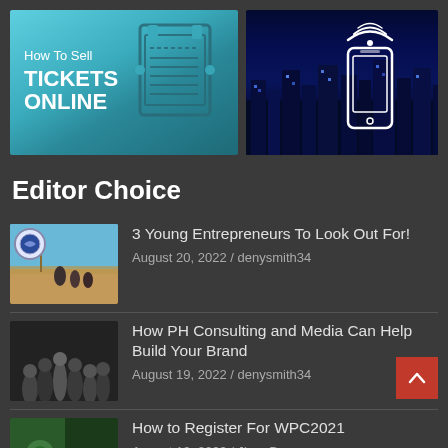[Figure (illustration): How To Sell TICKETS ONLINE promotional banner with teal background and receipt icon]
[Figure (photo): Dark blue city skyline at night with glowing smartphone and wifi signal icon]
Editor Choice
[Figure (photo): Thumbnail showing people at a beach/outdoor location with a flag]
3 Young Entrepreneurs To Look Out For!
August 20, 2022 / denysmith34
[Figure (photo): Thumbnail showing group of business people]
How PH Consulting and Media Can Help Build Your Brand
August 19, 2022 / denysmith34
[Figure (screenshot): Thumbnail for WPC2021 registration article showing game/app screenshot with red overlay]
How to Register For WPC2021
August 19, 2022 / Jhon Duncen